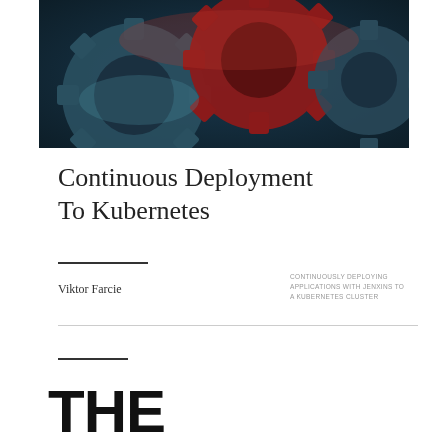[Figure (photo): Close-up photograph of interlocking industrial gears in blue-grey and red metallic colors]
Continuous Deployment To Kubernetes
Viktor Farcie
CONTINUOUSLY DEPLOYING APPLICATIONS WITH JENXINS TO A KUBERNETES CLUSTER
THE DEVOPS 2.3